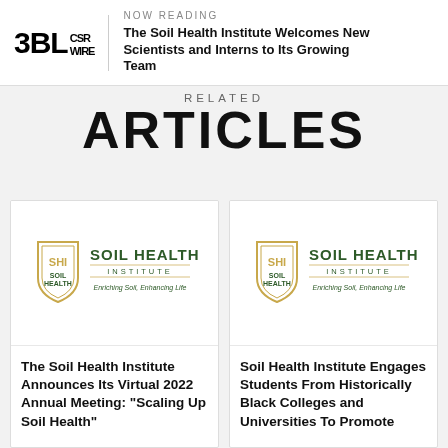NOW READING
The Soil Health Institute Welcomes New Scientists and Interns to Its Growing Team
RELATED
ARTICLES
[Figure (logo): Soil Health Institute logo — shield emblem with 'SOIL HEALTH INSTITUTE, Enriching Soil, Enhancing Life']
The Soil Health Institute Announces Its Virtual 2022 Annual Meeting: “Scaling Up Soil Health”
[Figure (logo): Soil Health Institute logo — shield emblem with 'SOIL HEALTH INSTITUTE, Enriching Soil, Enhancing Life']
Soil Health Institute Engages Students From Historically Black Colleges and Universities To Promote